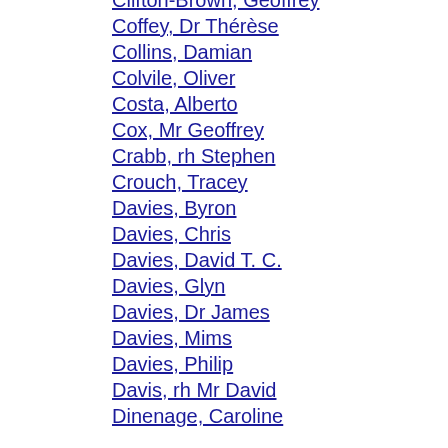Clifton-Brown, Geoffrey
Coffey, Dr Thérèse
Collins, Damian
Colvile, Oliver
Costa, Alberto
Cox, Mr Geoffrey
Crabb, rh Stephen
Crouch, Tracey
Davies, Byron
Davies, Chris
Davies, David T. C.
Davies, Glyn
Davies, Dr James
Davies, Mims
Davies, Philip
Davis, rh Mr David
Dinenage, Caroline